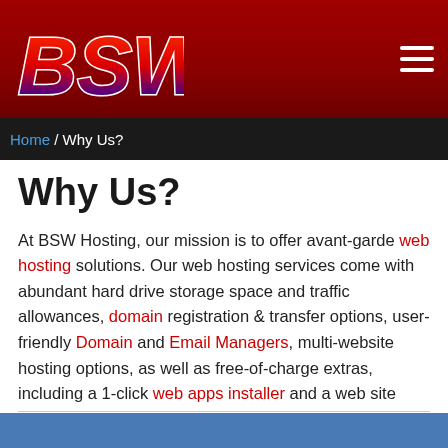[Figure (logo): BSW logo with stylized red and blue text on dark red header background with hamburger menu icon]
Home / Why Us?
Why Us?
At BSW Hosting, our mission is to offer avant-garde web hosting solutions. Our web hosting services come with abundant hard drive storage space and traffic allowances, domain registration & transfer options, user-friendly Domain and Email Managers, multi-website hosting options, as well as free-of-charge extras, including a 1-click web apps installer and a web site building tool. All hosting accounts can be easily managed via our multi-language web hosting Control Panel. A 24-7 tech support service is offered as well.